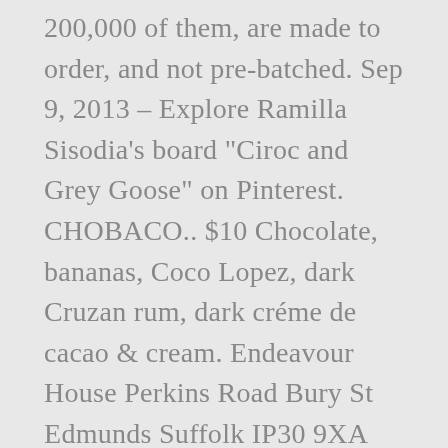200,000 of them, are made to order, and not pre-batched. Sep 9, 2013 – Explore Ramilla Sisodia's board "Ciroc and Grey Goose" on Pinterest. CHOBACO.. $10 Chocolate, bananas, Coco Lopez, dark Cruzan rum, dark créme de cacao & cream. Endeavour House Perkins Road Bury St Edmunds Suffolk IP30 9XA Tel: 01359 270536 Email: [email protected] This week, a Business Insider interview with Francois Thibault, the creator of Grey Goose, has been making the rounds. They're both incredibly delicious and are some of the most recommended signature cocktails in all of Walt Disney World. Grey Goose Vodka / passion fruit / cinnamon / lime Travel to the coast of Southern France, and taste this tropical twist